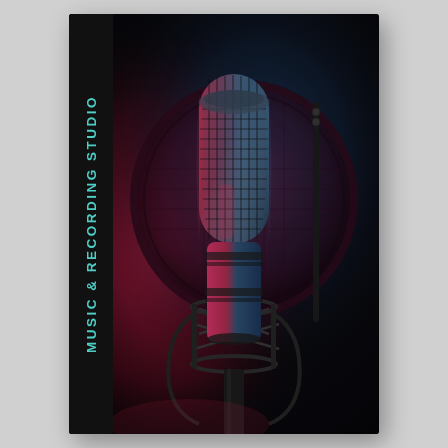[Figure (photo): A professional condenser microphone with pop filter on a shock mount stand, lit with dramatic pink/red and blue lighting against a dark background. The microphone capsule is front and center with a large circular pop filter visible behind it.]
MUSIC & RECORDING STUDIO